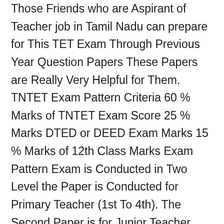Those Friends who are Aspirant of Teacher job in Tamil Nadu can prepare for This TET Exam Through Previous Year Question Papers These Papers are Really Very Helpful for Them. TNTET Exam Pattern Criteria 60 % Marks of TNTET Exam Score 25 % Marks DTED or DEED Exam Marks 15 % Marks of 12th Class Marks Exam Pattern Exam is Conducted in Two Level the Paper is Conducted for Primary Teacher (1st To 4th). The Second Paper is for Junior Teacher (5th To 8th) First Paper it Contains 150 Multiple Choice Question Having One Answer Correct The Paper is Divided in 5